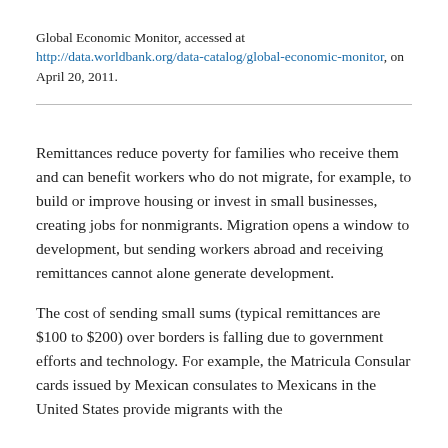Global Economic Monitor, accessed at http://data.worldbank.org/data-catalog/global-economic-monitor, on April 20, 2011.
Remittances reduce poverty for families who receive them and can benefit workers who do not migrate, for example, to build or improve housing or invest in small businesses, creating jobs for nonmigrants. Migration opens a window to development, but sending workers abroad and receiving remittances cannot alone generate development.
The cost of sending small sums (typical remittances are $100 to $200) over borders is falling due to government efforts and technology. For example, the Matricula Consular cards issued by Mexican consulates to Mexicans in the United States provide migrants with the